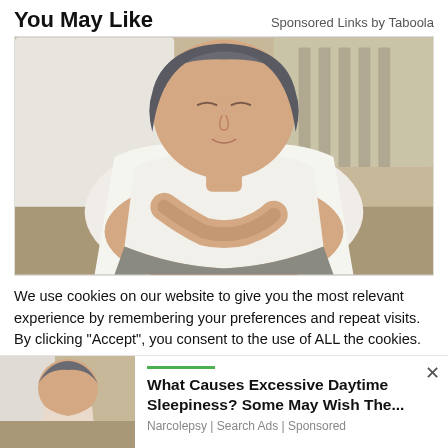You May Like
Sponsored Links by Taboola
[Figure (photo): Middle-aged woman lying in bed on pillows, wearing a white sleeveless top and grey shorts, hands folded on stomach, eyes closed, appearing to be resting or sleeping]
We use cookies on our website to give you the most relevant experience by remembering your preferences and repeat visits. By clicking “Accept”, you consent to the use of ALL the cookies.
Do not sell my personal information.
[Figure (photo): Small thumbnail of a woman lying in bed, similar to the main image above]
What Causes Excessive Daytime Sleepiness? Some May Wish The...
Narcolepsy | Search Ads | Sponsored